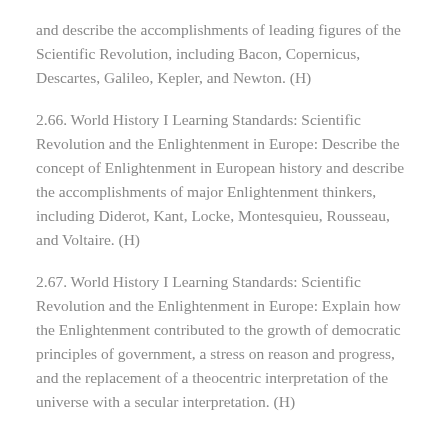and describe the accomplishments of leading figures of the Scientific Revolution, including Bacon, Copernicus, Descartes, Galileo, Kepler, and Newton. (H)
2.66. World History I Learning Standards: Scientific Revolution and the Enlightenment in Europe: Describe the concept of Enlightenment in European history and describe the accomplishments of major Enlightenment thinkers, including Diderot, Kant, Locke, Montesquieu, Rousseau, and Voltaire. (H)
2.67. World History I Learning Standards: Scientific Revolution and the Enlightenment in Europe: Explain how the Enlightenment contributed to the growth of democratic principles of government, a stress on reason and progress, and the replacement of a theocentric interpretation of the universe with a secular interpretation. (H)